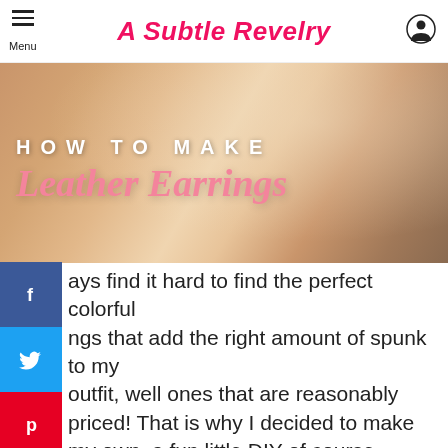A Subtle Revelry
[Figure (photo): Hero image showing a blonde woman wearing a white top, with large overlaid text reading 'HOW TO MAKE' and 'Leather Earrings' in pink script]
...ays find it hard to find the perfect colorful ...ngs that add the right amount of spunk to my outfit, well ones that are reasonably priced! That is why I decided to make my own, a fun little DIY of course. These DIY Leather Earrings are so easy to make and they can be customized to match any of